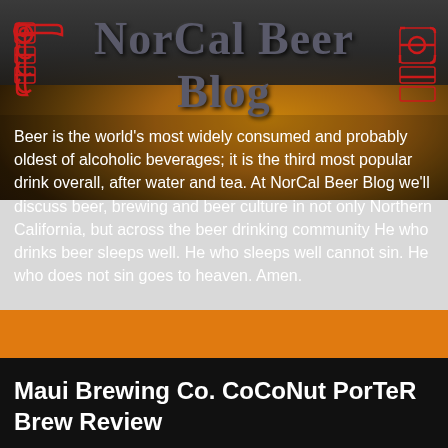[Figure (logo): NorCal Beer Blog logo with Celtic knotwork decorations on left and right sides, displayed on a dark banner over a beer-themed background photo]
Beer is the world's most widely consumed and probably oldest of alcoholic beverages; it is the third most popular drink overall, after water and tea. At NorCal Beer Blog we'll discuss beer, brewing and beer culture in not only Northern California, but across the beer drinking community He who drinks beer sleeps well. He who sleeps well cannot sin. He who does not sin goes to heaven. Amen.
Maui Brewing Co. CoCoNut PorTeR Brew Review